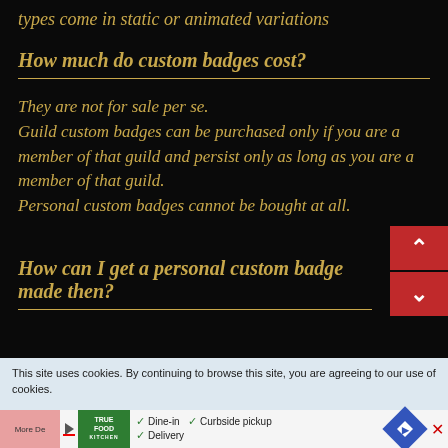types come in static or animated variations
How much do custom badges cost?
They are not for sale per se. Guild custom badges can be purchased only if you are a member of that guild and persist only as long as you are a member of that guild. Personal custom badges cannot be bought at all.
How can I get a personal custom badge made then?
This site uses cookies. By continuing to browse this site, you are agreeing to our use of cookies.